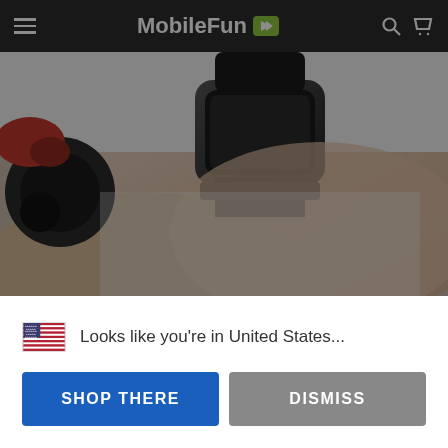MobileFun
[Figure (photo): Close-up photo of a person's wrist wearing a black smartwatch with a dark strap, with another device visible on the left side.]
[Figure (screenshot): Thumbnail strip showing product feature images: Full Visibility, Comfortable, Impact Resistant, Monitor]
Looks like you're in United States...
SHOP THERE
DISMISS